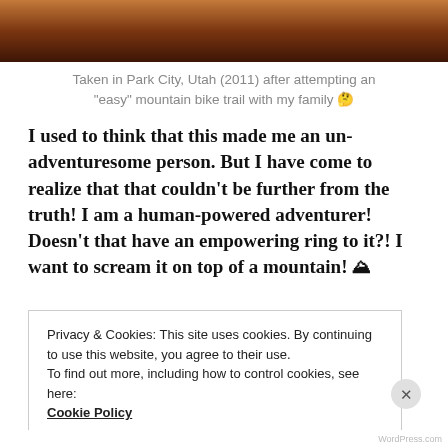[Figure (photo): Partial view of a photograph showing a person, taken in Park City, Utah in 2011, cropped at the top of the page]
Taken in Park City, Utah (2011) after attempting an "easy" mountain bike trail with my family 🤔
I used to think that this made me an un-adventuresome person. But I have come to realize that that couldn't be further from the truth! I am a human-powered adventurer! Doesn't that have an empowering ring to it?! I want to scream it on top of a mountain! ⛰
Privacy & Cookies: This site uses cookies. By continuing to use this website, you agree to their use.
To find out more, including how to control cookies, see here:
Cookie Policy
Close and accept